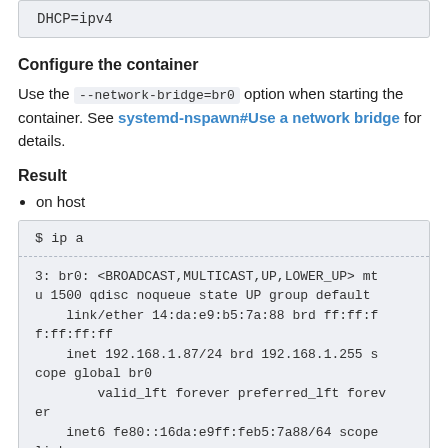DHCP=ipv4
Configure the container
Use the --network-bridge=br0 option when starting the container. See systemd-nspawn#Use a network bridge for details.
Result
on host
$ ip a
3: br0: <BROADCAST,MULTICAST,UP,LOWER_UP> mtu 1500 qdisc noqueue state UP group default
    link/ether 14:da:e9:b5:7a:88 brd ff:ff:ff:ff:ff:ff
    inet 192.168.1.87/24 brd 192.168.1.255 scope global br0
        valid_lft forever preferred_lft forever
    inet6 fe80::16da:e9ff:feb5:7a88/64 scope link